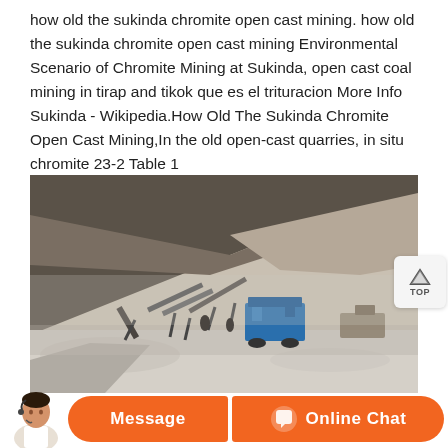how old the sukinda chromite open cast mining. how old the sukinda chromite open cast mining Environmental Scenario of Chromite Mining at Sukinda, open cast coal mining in tirap and tikok que es el trituracion More Info Sukinda - Wikipedia.How Old The Sukinda Chromite Open Cast Mining,In the old open-cast quarries, in situ chromite 23-2 Table 1
[Figure (photo): Outdoor photograph of an open cast mine site showing large rocky hillside terrain in the background, mining equipment including conveyor belts and a blue machine/crusher in the middle ground, and white crushed material/gravel in the foreground.]